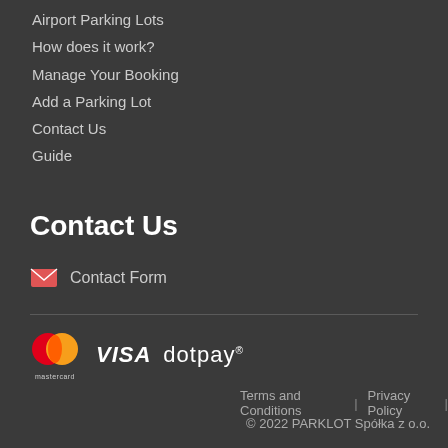Airport Parking Lots
How does it work?
Manage Your Booking
Add a Parking Lot
Contact Us
Guide
Contact Us
Contact Form
[Figure (logo): Mastercard, VISA, and dotpay payment logos]
Terms and Conditions | Privacy Policy | © 2022 PARKLOT Spółka z o.o.